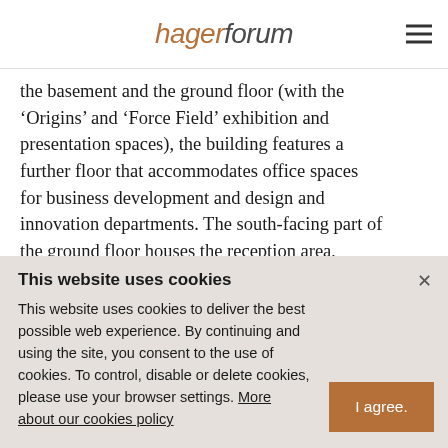hagerforum
the basement and the ground floor (with the ‘Origins’ and ‘Force Field’ exhibition and presentation spaces), the building features a further floor that accommodates office spaces for business development and design and innovation departments. The south-facing part of the ground floor houses the reception area, ‘Spark’ café, showrooms and the project rooms called ‘Labs’. The central event space,
This website uses cookies
This website uses cookies to deliver the best possible web experience. By continuing and using the site, you consent to the use of cookies. To control, disable or delete cookies, please use your browser settings. More about our cookies policy